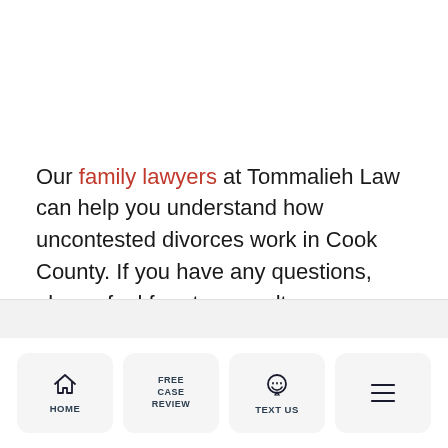Our family lawyers at Tommalieh Law can help you understand how uncontested divorces work in Cook County. If you have any questions, please feel free to consult us.
[Figure (screenshot): Mobile website bottom navigation bar with four items: HOME (house icon), FREE CASE REVIEW (text), TEXT US (chat bubble icon), and a hamburger menu icon.]